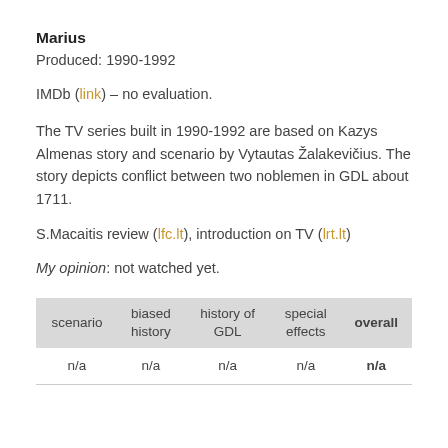Marius
Produced: 1990-1992
IMDb (link) – no evaluation.
The TV series built in 1990-1992 are based on Kazys Almenas story and scenario by Vytautas Žalakevičius. The story depicts conflict between two noblemen in GDL about 1711.
S.Macaitis review (lfc.lt), introduction on TV (lrt.lt)
My opinion: not watched yet.
| scenario | biased history | history of GDL | special effects | overall |
| --- | --- | --- | --- | --- |
| n/a | n/a | n/a | n/a | n/a |